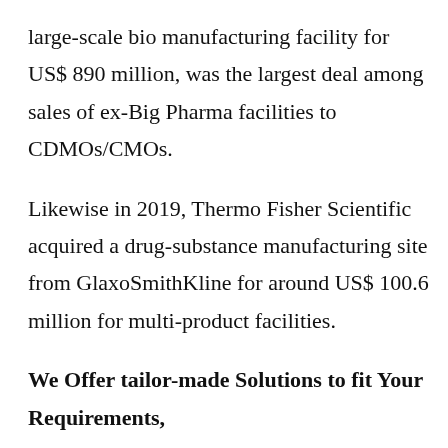large-scale bio manufacturing facility for US$ 890 million, was the largest deal among sales of ex-Big Pharma facilities to CDMOs/CMOs.
Likewise in 2019, Thermo Fisher Scientific acquired a drug-substance manufacturing site from GlaxoSmithKline for around US$ 100.6 million for multi-product facilities.
We Offer tailor-made Solutions to fit Your Requirements,